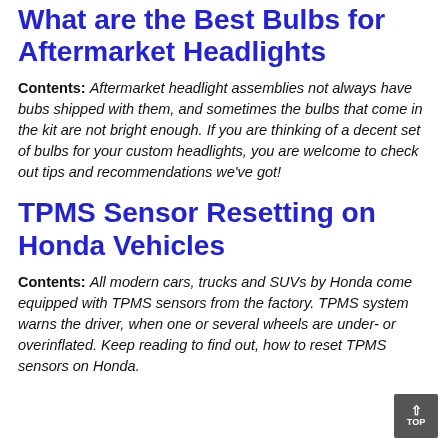What are the Best Bulbs for Aftermarket Headlights
Contents: Aftermarket headlight assemblies not always have bubs shipped with them, and sometimes the bulbs that come in the kit are not bright enough. If you are thinking of a decent set of bulbs for your custom headlights, you are welcome to check out tips and recommendations we've got!
TPMS Sensor Resetting on Honda Vehicles
Contents: All modern cars, trucks and SUVs by Honda come equipped with TPMS sensors from the factory. TPMS system warns the driver, when one or several wheels are under- or overinflated. Keep reading to find out, how to reset TPMS sensors on Honda.